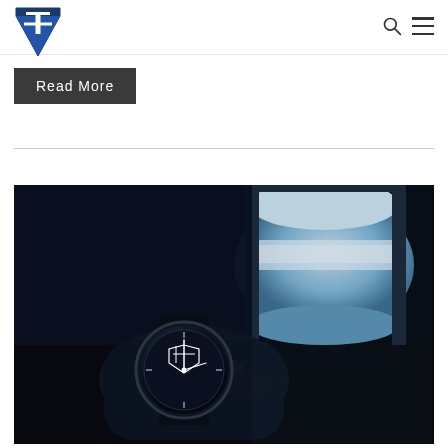Navigation header with logo and icons
Read More
[Figure (photo): A person holding a wrist watch with a shield/compass logo on the dial, photographed against an airplane window with a blue sky and clouds visible outside.]